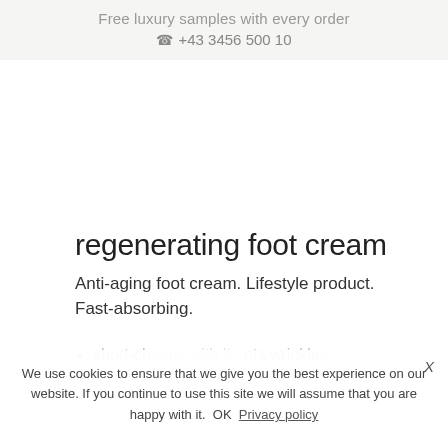Free luxury samples with every order
📞 +43 3456 500 10
regenerating foot cream
Anti-aging foot cream. Lifestyle product. Fast-absorbing.
We use cookies to ensure that we give you the best experience on our website. If you continue to use this site we will assume that you are happy with it. OK  Privacy policy
short-chain hyaluronic acid prevents wrinkles